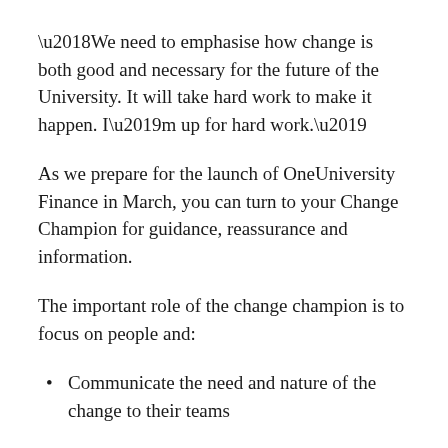‘We need to emphasise how change is both good and necessary for the future of the University. It will take hard work to make it happen. I’m up for hard work.’
As we prepare for the launch of OneUniversity Finance in March, you can turn to your Change Champion for guidance, reassurance and information.
The important role of the change champion is to focus on people and:
Communicate the need and nature of the change to their teams